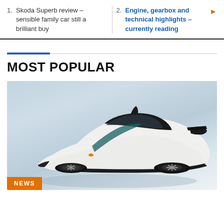1. Skoda Superb review – sensible family car still a brilliant buy
2. Engine, gearbox and technical highlights - currently reading
MOST POPULAR
[Figure (photo): White futuristic supercar/hypercar with black accents and teal stripe, shot from a three-quarter front angle on a light grey background]
NEWS